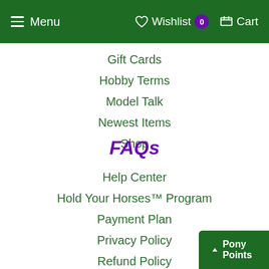Menu  Wishlist 0  Cart
Gift Cards
Hobby Terms
Model Talk
Newest Items
Shop
FAQs
Help Center
Hold Your Horses™ Program
Payment Plan
Privacy Policy
Refund Policy
Shipping Policy
Pony Points